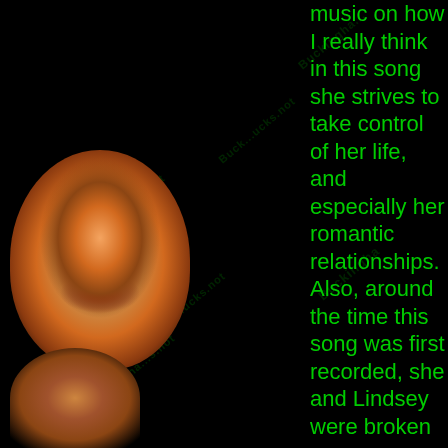[Figure (photo): Photo of a woman with voluminous reddish-blonde hair, smiling, against black background - top position]
[Figure (photo): Partial photo of the same woman with reddish-blonde hair - bottom left, cropped]
music on how I really think in this song she strives to take control of her life, and especially her romantic relationships. Also, around the time this song was first recorded, she and Lindsey were broken up, or breaking up. She began to see other men, such as Don Henley, and I love how this song